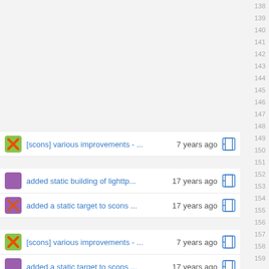[scons] various improvements - ... 7 years ago  row 149
added static building of lighttp... 17 years ago  row 151
added a static target to scons ... 17 years ago  row 152
[scons] various improvements - ... 7 years ago  row 154
added a static target to scons ... 17 years ago  row 155
[scons] various improvements - ... 7 years ago  row 156